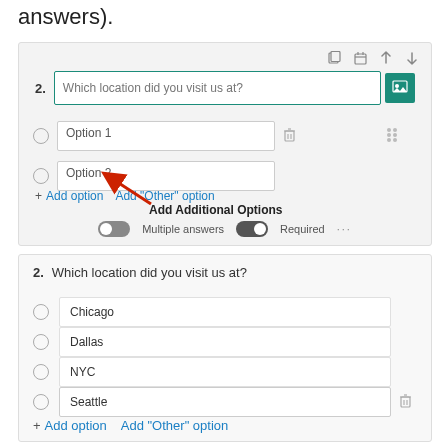answers).
[Figure (screenshot): Microsoft Forms question editor showing question 2 'Which location did you visit us at?' with Option 1 and Option 2 placeholders, and a red arrow annotation pointing to 'Add option' link with label 'Add Additional Options'. Multiple answers and Required toggles visible at bottom.]
[Figure (screenshot): Microsoft Forms preview showing question 2 'Which location did you visit us at?' with four radio button options: Chicago, Dallas, NYC, Seattle (Seattle has a delete icon). Add option and Add Other option links at bottom.]